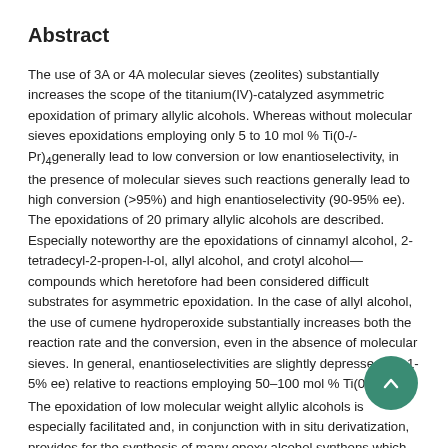Abstract
The use of 3A or 4A molecular sieves (zeolites) substantially increases the scope of the titanium(IV)-catalyzed asymmetric epoxidation of primary allylic alcohols. Whereas without molecular sieves epoxidations employing only 5 to 10 mol % Ti(0-/-Pr)4 generally lead to low conversion or low enantioselectivity, in the presence of molecular sieves such reactions generally lead to high conversion (>95%) and high enantioselectivity (90-95% ee). The epoxidations of 20 primary allylic alcohols are described. Especially noteworthy are the epoxidations of cinnamyl alcohol, 2-tetradecyl-2-propen-l-ol, allyl alcohol, and crotyl alcohol—compounds which heretofore had been considered difficult substrates for asymmetric epoxidation. In the case of allyl alcohol, the use of cumene hydroperoxide substantially increases both the reaction rate and the conversion, even in the absence of molecular sieves. In general, enantioselectivities are slightly depressed (by 1-5% ee) relative to reactions employing 50–100 mol % Ti(0-z-Pr)4. The epoxidation of low molecular weight allylic alcohols is especially facilitated and, in conjunction with in situ derivatization, provides for the synthesis of many epoxy alcohol synthons which were previously difficult to obtain. The kinetic resolution of four secondary allylic alcohols with 10 mol %